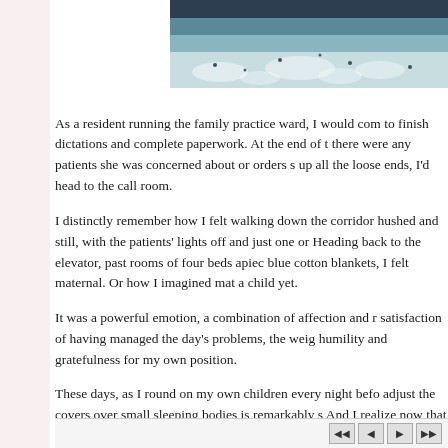[Figure (photo): Photo of blue and white cotton blankets or bedding, partially visible at top of page]
As a resident running the family practice ward, I would com to finish dictations and complete paperwork. At the end of t there were any patients she was concerned about or orders s up all the loose ends, I'd head to the call room. I distinctly remember how I felt walking down the corridor hushed and still, with the patients' lights off and just one or Heading back to the elevator, past rooms of four beds apiec blue cotton blankets, I felt maternal. Or how I imagined mat a child yet. It was a powerful emotion, a combination of affection and r satisfaction of having managed the day's problems, the weig humility and gratefulness for my own position. These days, as I round on my own children every night befo adjust the covers over small sleeping bodies is remarkably s And I realize now that those late nights walking down the c having tucked the kids in for the night.